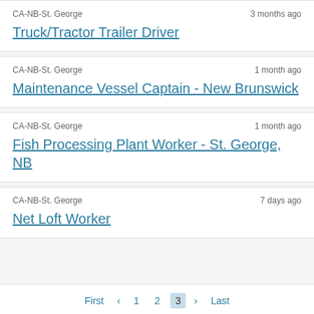CA-NB-St. George | 3 months ago | Truck/Tractor Trailer Driver
CA-NB-St. George | 1 month ago | Maintenance Vessel Captain - New Brunswick
CA-NB-St. George | 1 month ago | Fish Processing Plant Worker - St. George, NB
CA-NB-St. George | 7 days ago | Net Loft Worker
First < 1 2 3 > Last